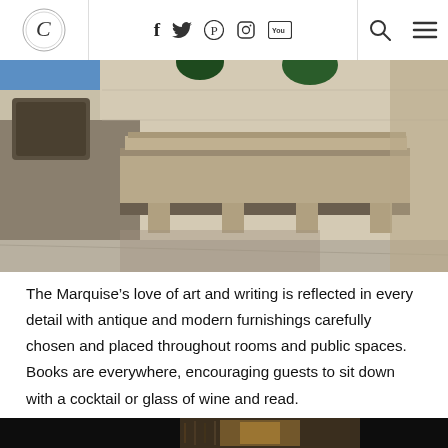Navigation bar with logo, social icons (f, twitter, pinterest, instagram, youtube), search and menu icons
[Figure (photo): Upward-angled architectural photograph of a neoclassical building facade with ornate balcony, columns, carved stonework, and palm trees against a blue sky]
The Marquise’s love of art and writing is reflected in every detail with antique and modern furnishings carefully chosen and placed throughout rooms and public spaces. Books are everywhere, encouraging guests to sit down with a cocktail or glass of wine and read.
[Figure (photo): Partial view of a bottom photo strip showing a dark scene with warm-toned decorative elements]